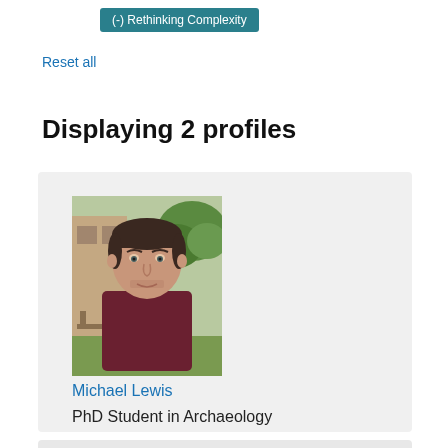(-) Rethinking Complexity
Reset all
Displaying 2 profiles
[Figure (photo): Profile photo of Michael Lewis, a young man outdoors with a plant and building in background]
Michael Lewis
PhD Student in Archaeology